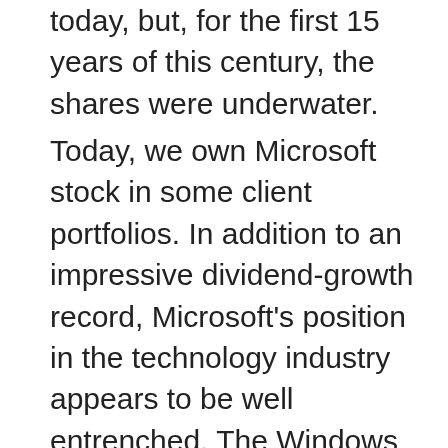today, but, for the first 15 years of this century, the shares were underwater.
Today, we own Microsoft stock in some client portfolios. In addition to an impressive dividend-growth record, Microsoft’s position in the technology industry appears to be well entrenched. The Windows operating system and Office productivity suite still have the leading market share among consumers and businesses. Microsoft is also a strong number two in the public cloud, where growth has been robust. Unlike some technology businesses that have few barriers to entry and almost no competitive advantages, Microsoft